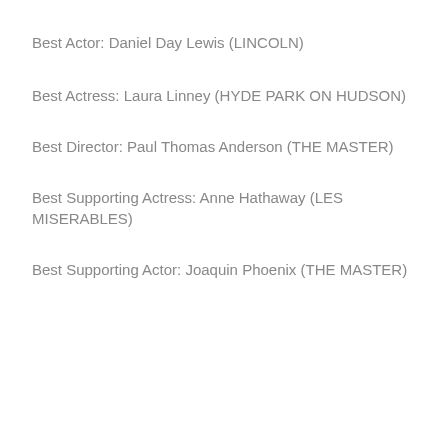Best Actor: Daniel Day Lewis (LINCOLN)
Best Actress: Laura Linney (HYDE PARK ON HUDSON)
Best Director: Paul Thomas Anderson (THE MASTER)
Best Supporting Actress: Anne Hathaway (LES MISERABLES)
Best Supporting Actor: Joaquin Phoenix (THE MASTER)